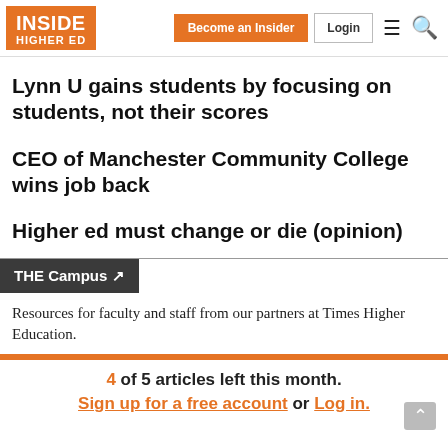INSIDE HIGHER ED | Become an Insider | Login
Lynn U gains students by focusing on students, not their scores
CEO of Manchester Community College wins job back
Higher ed must change or die (opinion)
THE Campus
Resources for faculty and staff from our partners at Times Higher Education.
4 of 5 articles left this month.
Sign up for a free account or Log in.